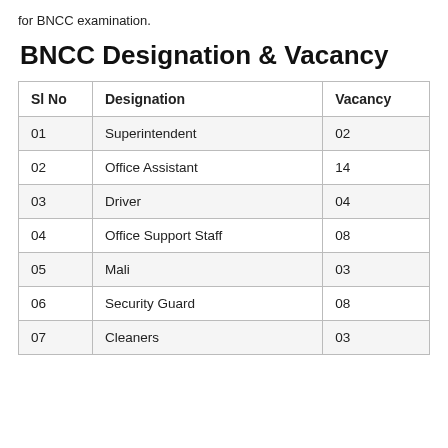for BNCC examination.
BNCC Designation & Vacancy
| Sl No | Designation | Vacancy |
| --- | --- | --- |
| 01 | Superintendent | 02 |
| 02 | Office Assistant | 14 |
| 03 | Driver | 04 |
| 04 | Office Support Staff | 08 |
| 05 | Mali | 03 |
| 06 | Security Guard | 08 |
| 07 | Cleaners | 03 |